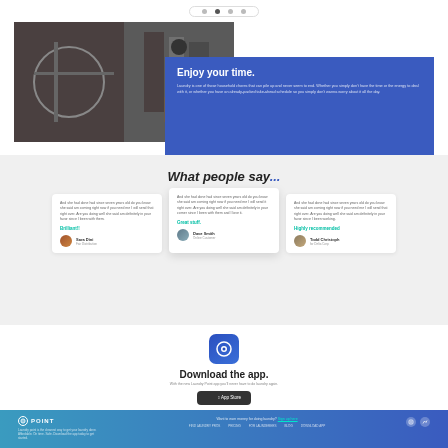[Figure (screenshot): Top navigation bar with pill-shaped element containing dots]
[Figure (photo): Hero section with dark photo of a person and bicycle/indoor scene on the left and a blue box on the right]
Enjoy your time.
Laundry is one of those household chores that can pile up and never seem to end. Whether you simply don't have the time or the energy to deal with it, or whether you have an already-packed take-ahead schedule so you simply don't wanna worry about it all the day.
What people say...
Brilliant!!
Great stuff.
Highly recommended
Sara Dini
Fair Distribution
Dave Smith
Online Customer
Todd Christoph
for Delta Corp
[Figure (logo): App icon - blue rounded square with white circle/eye graphic]
Download the app.
With the new Laundry Point app you'll never have to do laundry again.
[Figure (screenshot): App Store download button]
[Figure (logo): Footer with POINT logo and navigation links on blue background]